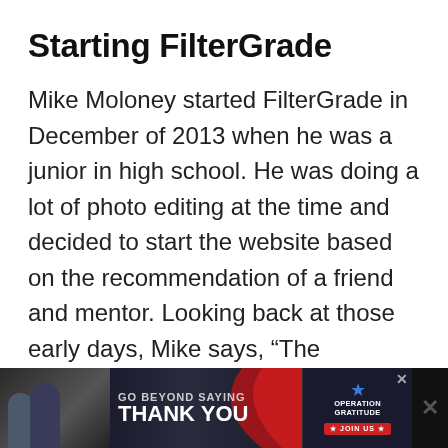Starting FilterGrade
Mike Moloney started FilterGrade in December of 2013 when he was a junior in high school. He was doing a lot of photo editing at the time and decided to start the website based on the recommendation of a friend and mentor. Looking back at those early days, Mike says, “The motivation was mainly to make money online and also learn more about photography and the editing world.”
[Figure (infographic): Advertisement banner at the bottom of the page. Dark background with image of people on left, text 'GO BEYOND SAYING THANK YOU' in center with red swoosh graphic, Operation Gratitude logo with 'JOIN US' button on right, and an X close button.]